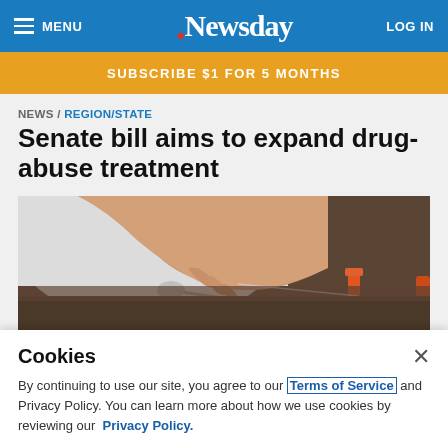MENU | Newsday | LOG IN
SUBSCRIBE $1 FOR 5 MONTHS
NEWS / REGION/STATE
Senate bill aims to expand drug-abuse treatment
[Figure (photo): Close-up of a hand near drug paraphernalia including a spoon and syringe on a surface, with orange caps visible]
Cookies

By continuing to use our site, you agree to our Terms of Service and Privacy Policy. You can learn more about how we use cookies by reviewing our Privacy Policy.